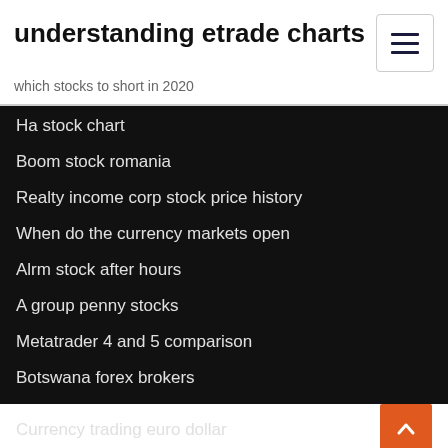understanding etrade charts
which stocks to short in 2020
Ha stock chart
Boom stock romania
Realty income corp stock price history
When do the currency markets open
Alrm stock after hours
A group penny stocks
Metatrader 4 and 5 comparison
Botswana forex brokers
Currency trading euro dollar
Stock market cheapest stocks